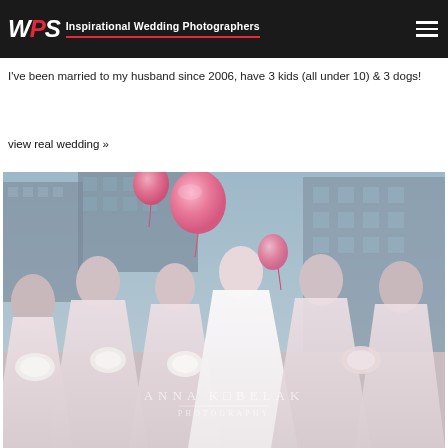WPS Inspirational Wedding Photographers
I've been married to my husband since 2006, have 3 kids (all under 10) & 3 dogs!
view real wedding »
[Figure (photo): Wedding party photo showing bride in white gown with bridesmaids in blush/pink dresses holding white flower bouquets, with pink balloons in the background against an urban setting. Watermark reads ANNA KOBELAK PHOTOGRAPHY.]